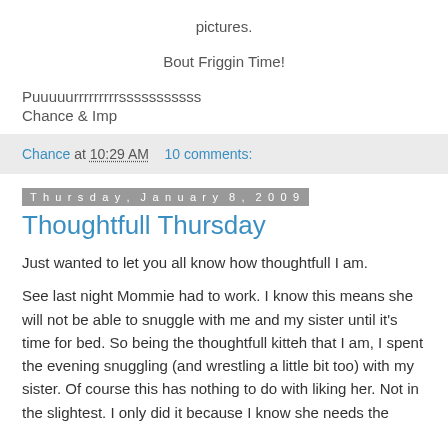pictures.
Bout Friggin Time!
Puuuuurrrrrrrrrsssssssssss
Chance & Imp
Chance at 10:29 AM   10 comments:
Thursday, January 8, 2009
Thoughtfull Thursday
Just wanted to let you all know how thoughtfull I am.
See last night Mommie had to work. I know this means she will not be able to snuggle with me and my sister until it's time for bed. So being the thoughtfull kitteh that I am, I spent the evening snuggling (and wrestling a little bit too) with my sister. Of course this has nothing to do with liking her. Not in the slightest. I only did it because I know she needs the